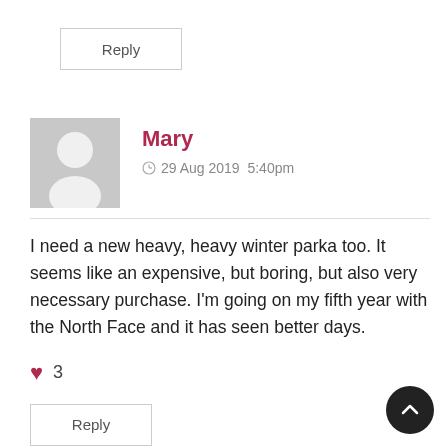Reply
Mary
29 Aug 2019  5:40pm
I need a new heavy, heavy winter parka too. It seems like an expensive, but boring, but also very necessary purchase. I'm going on my fifth year with the North Face and it has seen better days.
3
Reply